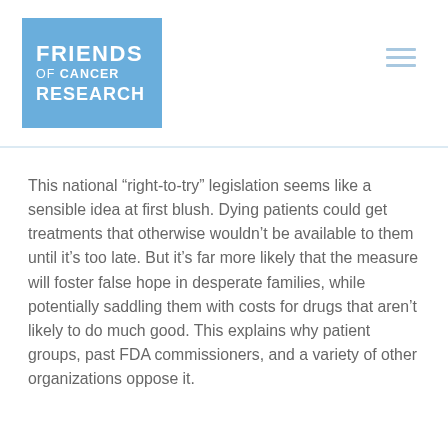[Figure (logo): Friends of Cancer Research logo — blue square with white text reading FRIENDS of CANCER RESEARCH]
This national “right-to-try” legislation seems like a sensible idea at first blush. Dying patients could get treatments that otherwise wouldn’t be available to them until it’s too late. But it’s far more likely that the measure will foster false hope in desperate families, while potentially saddling them with costs for drugs that aren’t likely to do much good. This explains why patient groups, past FDA commissioners, and a variety of other organizations oppose it.